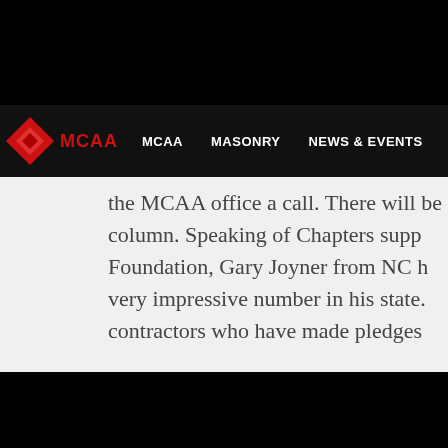[Figure (logo): MCAA website navigation bar with red diamond logo and white nav menu items: MCAA, MASONRY, NEWS & EVENTS, TECHNICAL, ADVOC...]
the MCAA office a call. There will be column. Speaking of Chapters supp Foundation, Gary Joyner from NC h very impressive number in his state. contractors who have made pledges